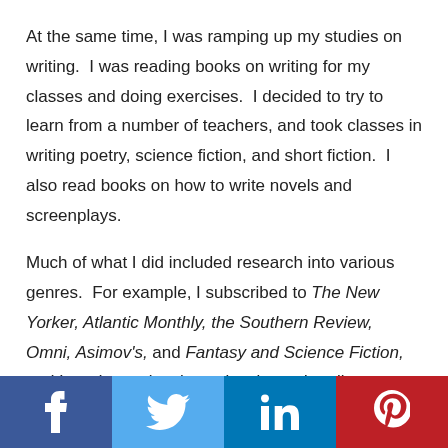At the same time, I was ramping up my studies on writing.  I was reading books on writing for my classes and doing exercises.  I decided to try to learn from a number of teachers, and took classes in writing poetry, science fiction, and short fiction.  I also read books on how to write novels and screenplays.
Much of what I did included research into various genres.  For example, I subscribed to The New Yorker, Atlantic Monthly, the Southern Review, Omni, Asimov's, and Fantasy and Science Fiction, and I read voraciously not just in modern literature, but I read short stories from many of the modern masters, and I fell in love in
Facebook | Twitter | LinkedIn | Pinterest